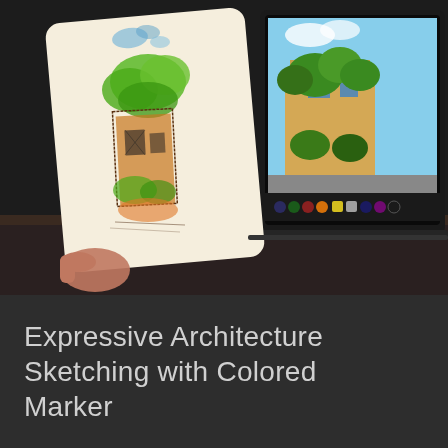[Figure (photo): A photograph showing a hand holding a colored marker sketch of a charming old building covered in green foliage with orange/brown stone walls. Behind it, a laptop screen displays the original reference photo of the same building — a Mediterranean-style structure with lush green trees and ivy. The laptop's taskbar with colorful icons is visible at the bottom of the screen.]
Expressive Architecture Sketching with Colored Marker